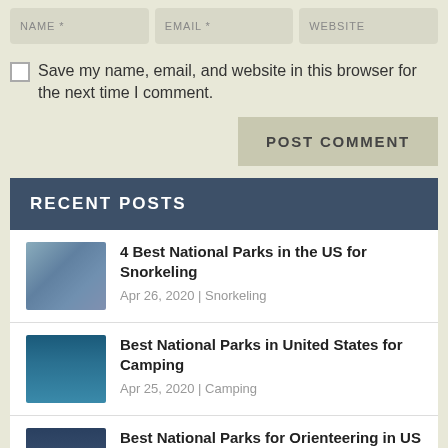NAME * | EMAIL * | WEBSITE
Save my name, email, and website in this browser for the next time I comment.
POST COMMENT
RECENT POSTS
4 Best National Parks in the US for Snorkeling
Apr 26, 2020 | Snorkeling
Best National Parks in United States for Camping
Apr 25, 2020 | Camping
Best National Parks for Orienteering in US
Apr 24, 2020 | National Parks